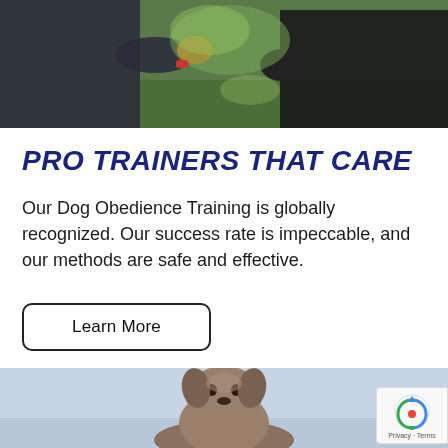[Figure (photo): Person training a dark-colored dog outdoors, holding a clicker/treat, green foliage in background]
PRO TRAINERS THAT CARE
Our Dog Obedience Training is globally recognized. Our success rate is impeccable, and our methods are safe and effective.
Learn More
[Figure (photo): A gray/silver Labrador puppy sitting outdoors against a light sky background]